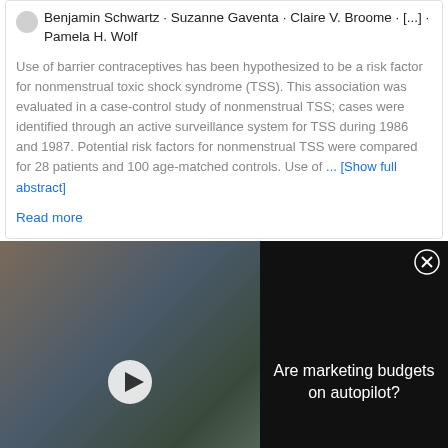Benjamin Schwartz · Suzanne Gaventa · Claire V. Broome · [...] · Pamela H. Wolf
Use of barrier contraceptives has been hypothesized to be a risk factor for nonmenstrual toxic shock syndrome (TSS). This association was evaluated in a case-control study of nonmenstrual TSS; cases were identified through an active surveillance system for TSS during 1986 and 1987. Potential risk factors for nonmenstrual TSS were compared for 28 patients and 100 age-matched controls. Use of ... [Show full abstract]
Read more
[Figure (screenshot): Video advertisement thumbnail showing people in a meeting room with overlay text 'ARE MARKETING BUDGETS ON AUTOPILOT?' with a play button]
Are marketing budgets on autopilot?
[Figure (photo): ThermoFisher Scientific Pluripotent Stem Cell Resource Handbook cover with blue globe graphic]
Pluripotent stem cell